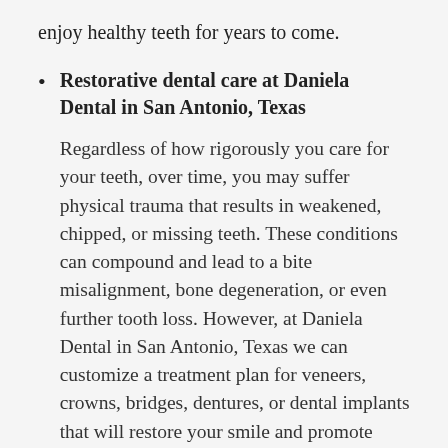enjoy healthy teeth for years to come.
Restorative dental care at Daniela Dental in San Antonio, Texas
Regardless of how rigorously you care for your teeth, over time, you may suffer physical trauma that results in weakened, chipped, or missing teeth. These conditions can compound and lead to a bite misalignment, bone degeneration, or even further tooth loss. However, at Daniela Dental in San Antonio, Texas we can customize a treatment plan for veneers, crowns, bridges, dentures, or dental implants that will restore your smile and promote overall excellent oral health. Restoring your ideal dental structure not only improves your appearance and oral